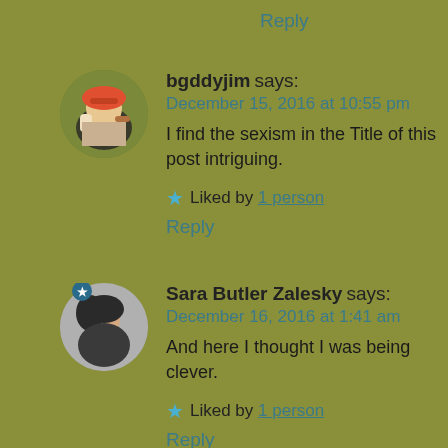Reply
bgddyjim says:
December 15, 2016 at 10:55 pm
I find the sexism in the Title of this post intriguing.
Liked by 1 person
Reply
Sara Butler Zalesky says:
December 16, 2016 at 1:41 am
And here I thought I was being clever.
Liked by 1 person
Reply